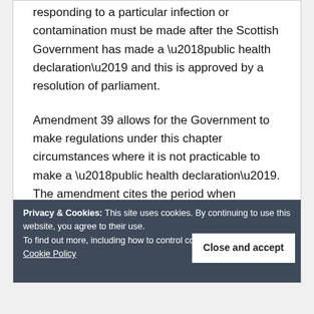responding to a particular infection or contamination must be made after the Scottish Government has made a ‘public health declaration’ and this is approved by a resolution of parliament.
Amendment 39 allows for the Government to make regulations under this chapter circumstances where it is not practicable to make a ‘public health declaration’. The amendment cites the period when Parliament is dissolved prior to an election as an example of a situation where
Privacy & Cookies: This site uses cookies. By continuing to use this website, you agree to their use.
To find out more, including how to control co…
Cookie Policy